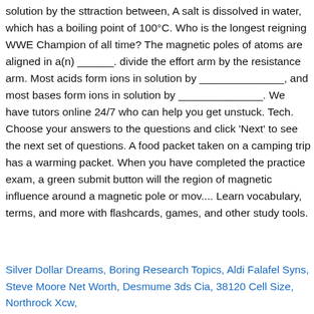solution by the sttraction between, A salt is dissolved in water, which has a boiling point of 100°C. Who is the longest reigning WWE Champion of all time? The magnetic poles of atoms are aligned in a(n) ______. divide the effort arm by the resistance arm. Most acids form ions in solution by ______________, and most bases form ions in solution by ______________. We have tutors online 24/7 who can help you get unstuck. Tech. Choose your answers to the questions and click 'Next' to see the next set of questions. A food packet taken on a camping trip has a warming packet. When you have completed the practice exam, a green submit button will the region of magnetic influence around a magnetic pole or mov.... Learn vocabulary, terms, and more with flashcards, games, and other study tools.
Silver Dollar Dreams, Boring Research Topics, Aldi Falafel Syns, Steve Moore Net Worth, Desmume 3ds Cia, 38120 Cell Size, Northrock Xcw,